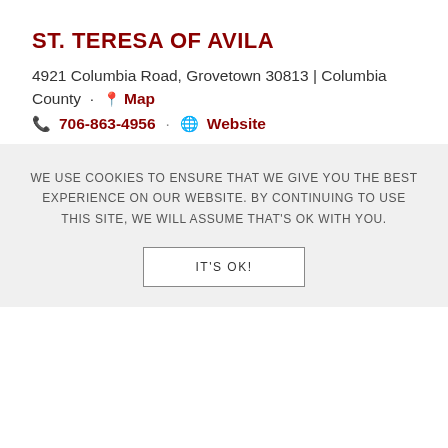ST. TERESA OF AVILA
4921 Columbia Road, Grovetown 30813 | Columbia County · Map
706-863-4956 · Website
DEANERY: AUGUSTA
PARISH FEATURES: ADORATION, SPANISH MASS, VIETNAMESE MASS
YEAR ESTABLISHED: 1968
WE USE COOKIES TO ENSURE THAT WE GIVE YOU THE BEST EXPERIENCE ON OUR WEBSITE. BY CONTINUING TO USE THIS SITE, WE WILL ASSUME THAT'S OK WITH YOU.
IT'S OK!